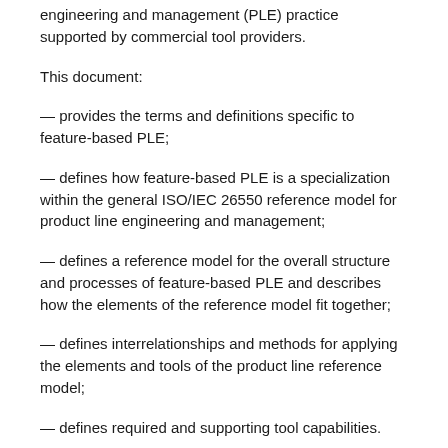engineering and management (PLE) practice supported by commercial tool providers.
This document:
— provides the terms and definitions specific to feature-based PLE;
— defines how feature-based PLE is a specialization within the general ISO/IEC 26550 reference model for product line engineering and management;
— defines a reference model for the overall structure and processes of feature-based PLE and describes how the elements of the reference model fit together;
— defines interrelationships and methods for applying the elements and tools of the product line reference model;
— defines required and supporting tool capabilities.
In this document, products of feature-based PLE include digital work products that support the engineering of a system. Some